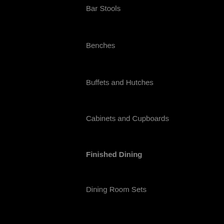Bar Stools
Benches
Buffets and Hutches
Cabinets and Cupboards
Finished Dining
Dining Room Sets
More Info
Search
About us
Policies
FAQ
Blog
Giving Back
How To